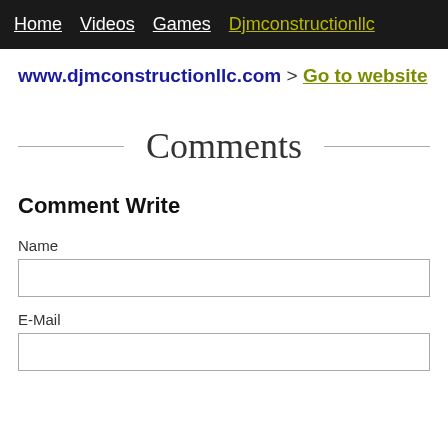Home   Videos   Games   Djmconstructionllc
www.djmconstructionllc.com > Go to website
Comments
Comment Write
Name
E-Mail